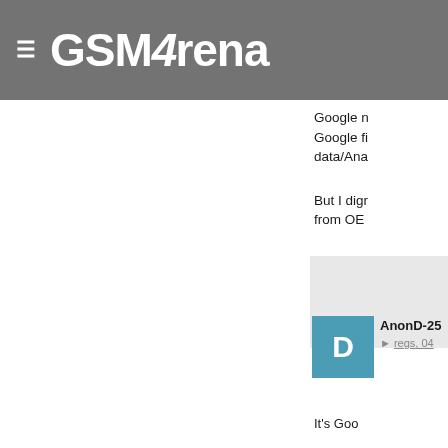GSMArena
Google r Google fi data/Ana
But I digr from OE
Don't like better ye
AnonD-25
regs, 04
It's Goo